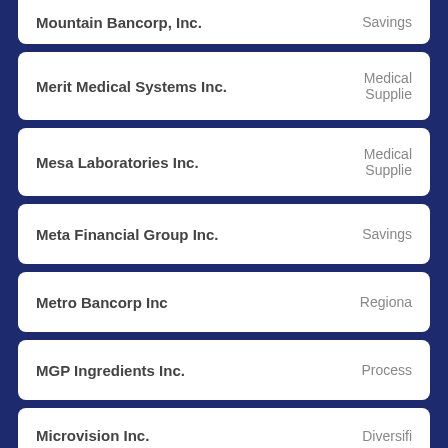Mountain Bancorp, Inc. — Savings
Merit Medical Systems Inc. — Medical Supplie
Mesa Laboratories Inc. — Medical Supplie
Meta Financial Group Inc. — Savings
Metro Bancorp Inc — Regional
MGP Ingredients Inc. — Process
Microvision Inc. — Diversifi